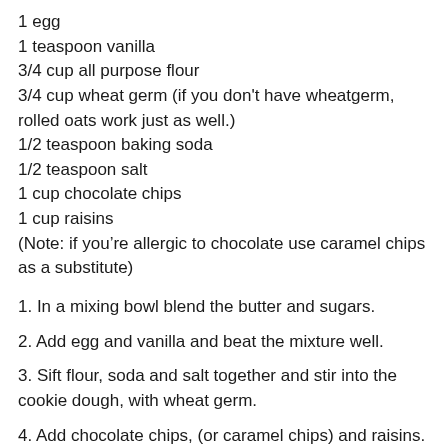1 egg
1 teaspoon vanilla
3/4 cup all purpose flour
3/4 cup wheat germ (if you don't have wheatgerm, rolled oats work just as well.)
1/2 teaspoon baking soda
1/2 teaspoon salt
1 cup chocolate chips
1 cup raisins
(Note: if you’re allergic to chocolate use caramel chips as a substitute)
1. In a mixing bowl blend the butter and sugars.
2. Add egg and vanilla and beat the mixture well.
3. Sift flour, soda and salt together and stir into the cookie dough, with wheat germ.
4. Add chocolate chips, (or caramel chips) and raisins.
5. Using two spoons, spoon mixture onto greased cookie